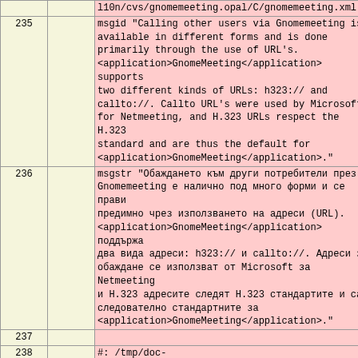| col1 | col2 | content |
| --- | --- | --- |
|  |  | l10n/cvs/gnomemeeting.opal/C/gnomemeeting.xml:294(p |
| 235 |  | msgid "Calling other users via Gnomemeeting is available in different forms and is done primarily through the use of URL's. <application>GnomeMeeting</application> supports two different kinds of URLs: h323:// and callto://. Callto URL's were used by Microsoft for Netmeeting, and H.323 URLs respect the H.323 standard and are thus the default for <application>GnomeMeeting</application>." |
| 236 |  | msgstr "Обаждането към други потребители през Gnomemeeting е налично под много форми и се прави предимно чрез използването на адреси (URL). <application>GnomeMeeting</application> поддържа два вида адреси: h323:// и callto://. Адреси за обаждане се използват от Microsoft за Netmeeting и H.323 адресите следят H.323 стандартите и са следователно стандартните за <application>GnomeMeeting</application>." |
| 237 |  |  |
| 238 |  | #: /tmp/doc-l10n/cvs/gnomemeeting.opal/C/gnomemeeting.xml:296(e |
|  | 442 | #: ../C/ekiga.xml:271(title) |
|  | 443 | msgid "Calling and being called" |
|  | 444 | msgstr "" |
|  | 445 |  |
|  | 446 | #: ../C/ekiga.xml:275(title) |
|  | 447 | msgid "From computer to computer (PC-To-PC)" |
|  | 448 | msgstr "" |
|  | 449 |  |
|  | 450 | #: ../C/ekiga.xml:276(para) |
|  | 451 | msgid "" |
|  | 452 | "If you want to call other users and to be callable, you need a SIP address. " |
|  | 453 | "You can get a SIP address from <ulink |